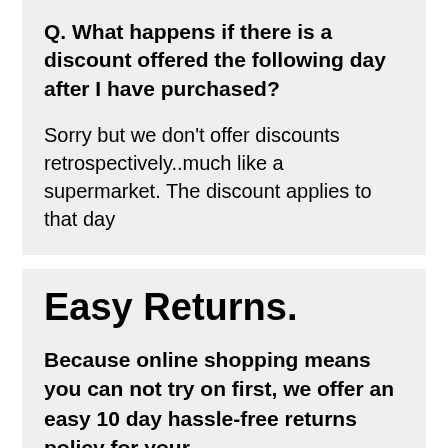Q. What happens if there is a discount offered the following day after I have purchased?
Sorry but we don't offer discounts retrospectively..much like a supermarket. The discount applies to that day
Easy Returns.
Because online shopping means you can not try on first, we offer an easy 10 day hassle-free returns policy for your